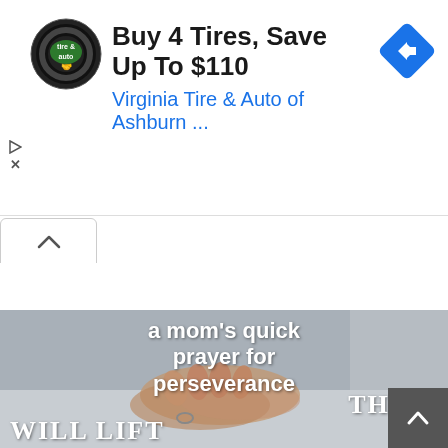[Figure (other): Virginia Tire & Auto advertisement: circular logo with 'tire & auto' text, ad headline 'Buy 4 Tires, Save Up To $110', subtext 'Virginia Tire & Auto of Ashburn ...', blue diamond navigation icon on right, play and close icons on left]
Buy 4 Tires, Save Up To $110
Virginia Tire & Auto of Ashburn ...
[Figure (other): Tab/navigation element with an up arrow caret (^) in a white rounded tab]
[Figure (photo): Photo of clasped/praying hands on a table, with white bold text overlay reading 'a mom's quick prayer for perseverance THAT WILL LIFT']
[Figure (other): Scroll-to-top button: dark gray square with white upward chevron arrow, positioned bottom-right]